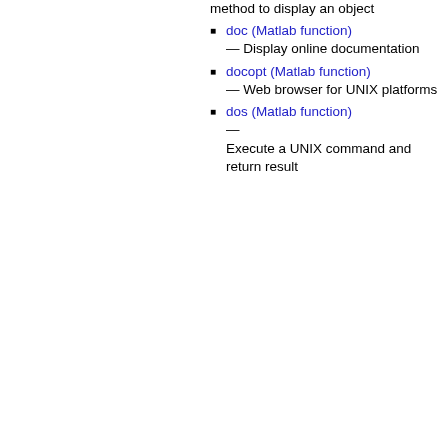method to display an object
doc (Matlab function) — Display online documentation
docopt (Matlab function) — Web browser for UNIX platforms
dos (Matlab function) — Execute a UNIX command and return result